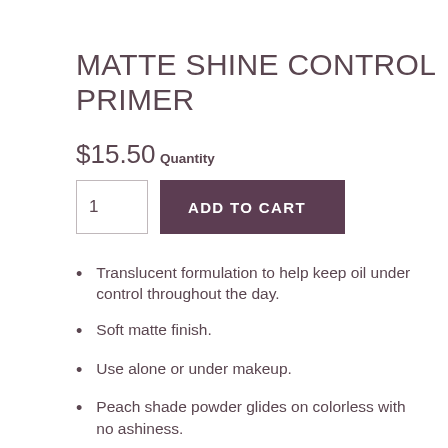MATTE SHINE CONTROL PRIMER
$15.50
Quantity
Translucent formulation to help keep oil under control throughout the day.
Soft matte finish.
Use alone or under makeup.
Peach shade powder glides on colorless with no ashiness.